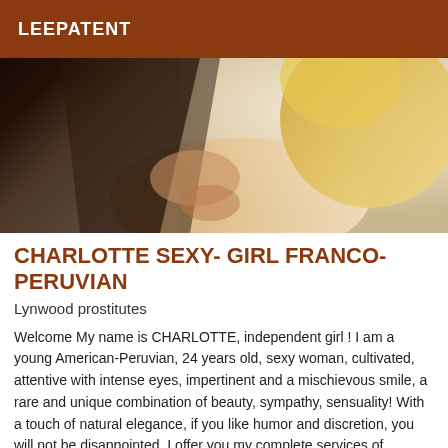LEEPATENT
[Figure (photo): Partial photo of a woman with blonde hair and dark clothing, cropped view showing torso and hair against a light background]
CHARLOTTE SEXY- GIRL FRANCO-PERUVIAN
Lynwood prostitutes
Welcome My name is CHARLOTTE, independent girl ! I am a young American-Peruvian, 24 years old, sexy woman, cultivated, attentive with intense eyes, impertinent and a mischievous smile, a rare and unique combination of beauty, sympathy, sensuality! With a touch of natural elegance, if you like humor and discretion, you will not be disappointed. I offer you my complete services of massage, relaxation and guaranteed relaxation. (I like hygiene, and ask the same thing for my client... / Please call me to explain my